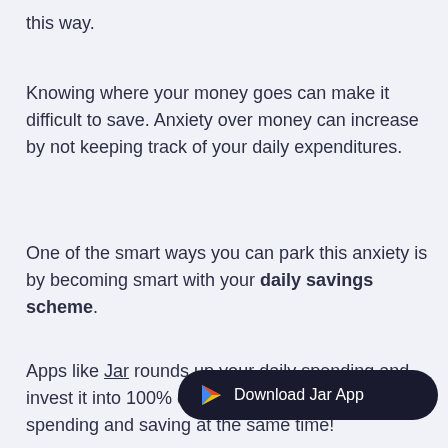this way.
Knowing where your money goes can make it difficult to save. Anxiety over money can increase by not keeping track of your daily expenditures.
One of the smart ways you can park this anxiety is by becoming smart with your daily savings scheme.
Apps like Jar rounds up your daily spending and invest it into 100% digital… like spending and saving at the same time!